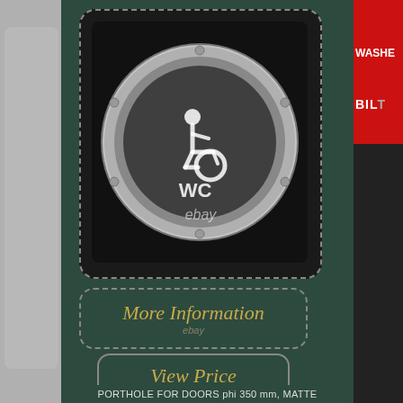[Figure (photo): An eBay product listing page showing a stainless steel porthole/circular door sign with wheelchair accessibility symbol and 'WC' text, in a dotted-border rounded square frame on a dark green background. Below the product photo are two buttons: 'More Information' and 'View Price', both styled with gold italic text and dashed/solid borders. The left side shows a plastic bag and right side shows partial red and black packaging.]
More Information
ebay
View Price
ebay
PORTHOLE FOR DOORS phi 350 mm, MATTE GENTLEMEN'S